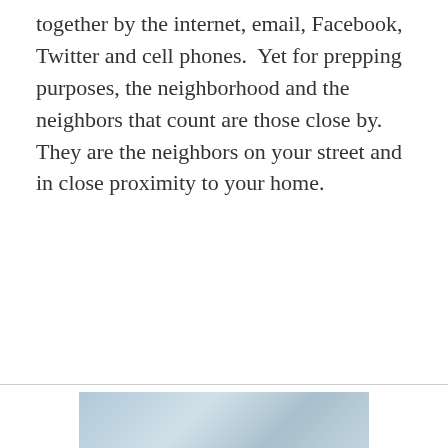together by the internet, email, Facebook, Twitter and cell phones.  Yet for prepping purposes, the neighborhood and the neighbors that count are those close by. They are the neighbors on your street and in close proximity to your home.
[Figure (photo): Partial view of a photo strip at the bottom of the page showing an outdoor/landscape scene in muted blue-grey tones]